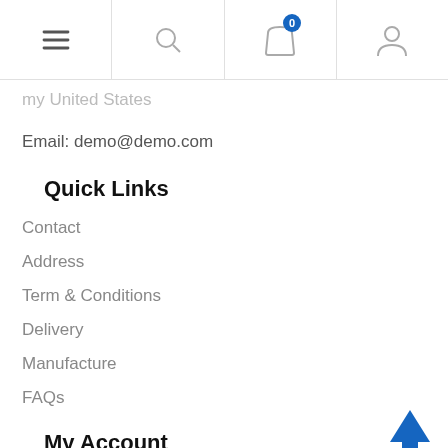Navigation bar with menu, search, cart (0), and user icons
my United States
Email: demo@demo.com
Quick Links
Contact
Address
Term & Conditions
Delivery
Manufacture
FAQs
My Account